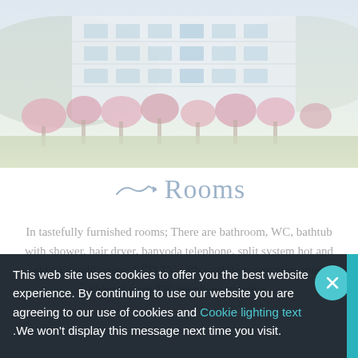[Figure (photo): Exterior photo of a multi-story hotel building with pink flowering trees in front and green lawn, mountains visible in background, faded/washed-out appearance]
Rooms
In tastefully furnished rooms; There are bathroom, WC, bathtub with shower, hair dryer, banyoda telephone, split system hot and cold air conditioning, LCD TV with satellite connection, music channel from TV, telephone, minibar,
This web site uses cookies to offer you the best website experience. By continuing to use our website you are agreeing to our use of cookies and Cookie lighting text .We won't display this message next time you visit.